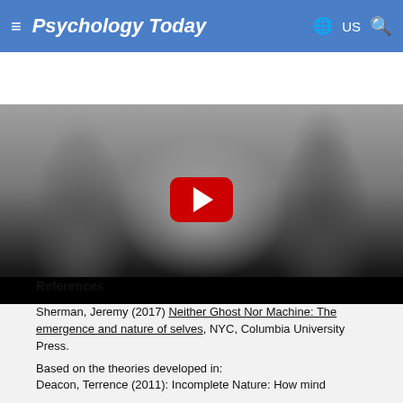Psychology Today  ☰  🌐 US 🔍
[Figure (photo): Black and white YouTube video thumbnail showing two people facing each other with hands raised between them, with a YouTube play button overlay]
References
Sherman, Jeremy (2017) Neither Ghost Nor Machine: The emergence and nature of selves, NYC, Columbia University Press.

Based on the theories developed in:
Deacon, Terrence (2011): Incomplete Nature: How mind